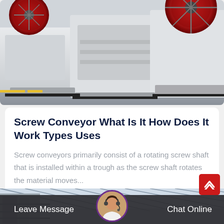[Figure (photo): Industrial machinery with red-rimmed wheels and white metal frames on a factory floor]
Screw Conveyor What Is It How Does It Work Types Uses
Screw conveyors primarily consist of a rotating screw shaft that is installed within a trough as the screw shaft rotates the material moves...
[Figure (photo): Industrial facility with steel framework and glass roof structure]
Leave Message   Chat Online